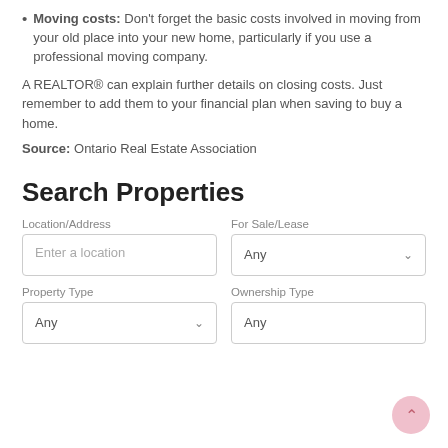Moving costs: Don't forget the basic costs involved in moving from your old place into your new home, particularly if you use a professional moving company.
A REALTOR® can explain further details on closing costs. Just remember to add them to your financial plan when saving to buy a home.
Source: Ontario Real Estate Association
Search Properties
Location/Address | For Sale/Lease | Property Type | Ownership Type (form fields)